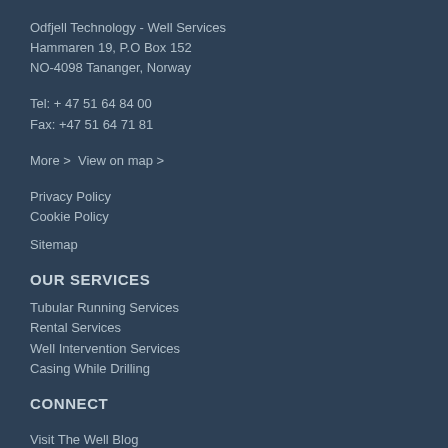Odfjell Technology - Well Services
Hammaren 19, P.O Box 152
NO-4098 Tananger, Norway
Tel: + 47 51 64 84 00
Fax: +47 51 64 71 81
More >  View on map >
Privacy Policy
Cookie Policy
Sitemap
OUR SERVICES
Tubular Running Services
Rental Services
Well Intervention Services
Casing While Drilling
CONNECT
Visit The Well Blog
Facebook
LinkedIn